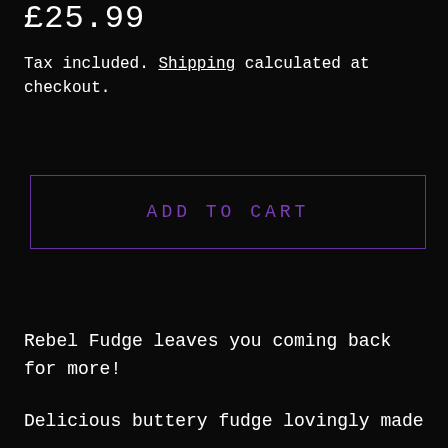£25.99
Tax included. Shipping calculated at checkout.
ADD TO CART
Rebel Fudge leaves you coming back for more!
Delicious buttery fudge lovingly made